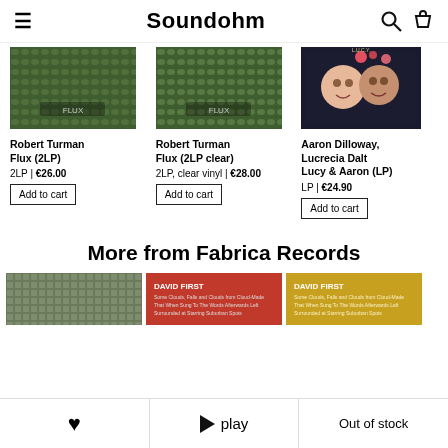Soundohm
[Figure (photo): Album cover for Robert Turman Flux (2LP) - green foliage texture]
Robert Turman
Flux (2LP)
2LP | €26.00
Add to cart
[Figure (photo): Album cover for Robert Turman Flux (2LP clear) - green foliage texture]
Robert Turman
Flux (2LP clear)
2LP, clear vinyl | €28.00
Add to cart
[Figure (photo): Album cover for Aaron Dilloway, Lucrecia Dalt - Lucy & Aaron (LP) - illustrated portrait on dark background]
Aaron Dilloway, Lucrecia Dalt
Lucy & Aaron (LP)
LP | €24.90
Add to cart
More from Fabrica Records
[Figure (photo): Album cover - green textured grid pattern]
[Figure (photo): David First album cover - red background with white text]
[Figure (photo): David First album cover - gold/yellow background with text]
♥   ▶ play   Out of stock